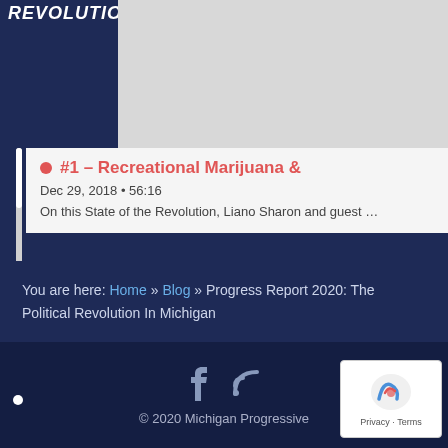[Figure (screenshot): Podcast thumbnail with dark navy background showing 'REVOLUTION' text in white bold italic letters]
#1 – Recreational Marijuana &
Dec 29, 2018 • 56:16
On this State of the Revolution, Liano Sharon and guest …
[Figure (screenshot): Second podcast thumbnail with dark navy background showing 'STATE...' logo text]
You are here: Home » Blog » Progress Report 2020: The Political Revolution In Michigan
© 2020 Michigan Progressive